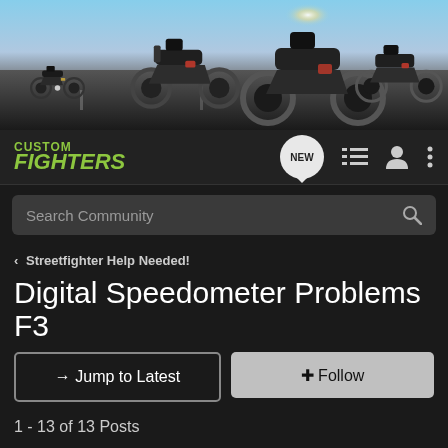[Figure (photo): Banner image showing multiple motorcycles on a road with bright sky background]
[Figure (logo): Custom Fighters logo in green italic text]
Search Community
< Streetfighter Help Needed!
Digital Speedometer Problems F3
→ Jump to Latest
+ Follow
1 - 13 of 13 Posts
Jonesc962 · Registered
Joined Oct 10, 2013 · 8 Posts